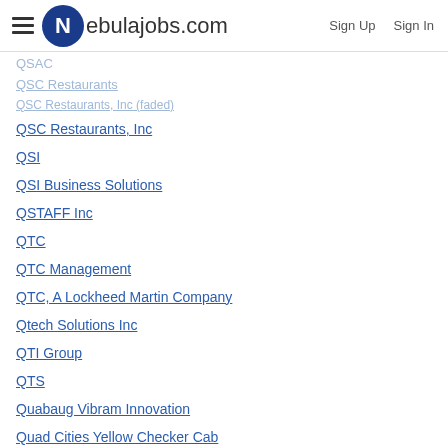Nebulajobs.com | Sign Up | Sign In
QSAC
QSC Restaurants
QSC Restaurants, Inc
QSI
QSI Business Solutions
QSTAFF Inc
QTC
QTC Management
QTC, A Lockheed Martin Company
Qtech Solutions Inc
QTI Group
QTS
Quabaug Vibram Innovation
Quad Cities Yellow Checker Cab
Quad Graphics
QuadGraphics
Quad656
Quadax
QuadGen
QuadMed
Quadra Tooling
QuadraTech